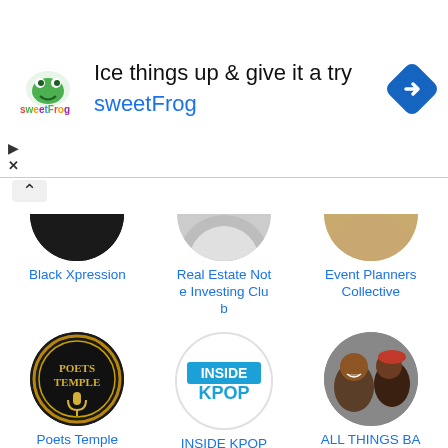[Figure (screenshot): Advertisement banner for sweetFrog frozen yogurt. Shows sweetFrog logo on left, text 'Ice things up & give it a try' and 'sweetFrog' in blue, blue diamond navigation arrow on right. Ad controls (triangle and X) on lower left.]
[Figure (screenshot): App/website screenshot showing a grid of community or podcast group icons with names. Row 1 (partial): Black Xpression, Real Estate Note Investing Club, Event Planners Collective. Row 2: Poets Temple, INSIDE KPOP, ALL THINGS BATTLE RAP. Row 3 (partial): Melanin Skin X, Astrology and Metaphysics Club, Relationship Talk.]